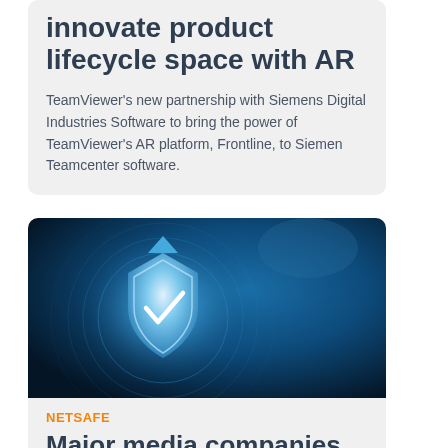innovate product lifecycle space with AR
TeamViewer's new partnership with Siemens Digital Industries Software to bring the power of TeamViewer's AR platform, Frontline, to Siemen Teamcenter software.
[Figure (photo): Dark blue background with a glowing white and blue security shield icon featuring a checkmark, surrounded by circular rings and light effects]
NETSAFE
Major media companies sign